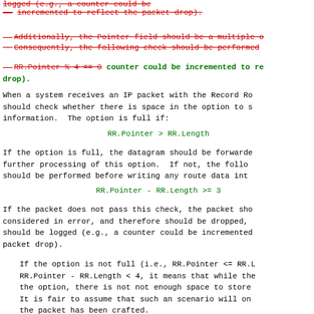logged (e.g., a counter could be incremented to reflect the packet drop). [strikethrough red]
Additionally, the Pointer field should be a multiple o... Consequently, the following check should be performed... [strikethrough red]
RR.Pointer % 4 == 0 counter could be incremented to reflect the packet drop). [mixed strikethrough and green bold]
When a system receives an IP packet with the Record Ro... should check whether there is space in the option to s... information.  The option is full if:
If the option is full, the datagram should be forwarde... further processing of this option.  If not, the follo... should be performed before writing any route data int...
If the packet does not pass this check, the packet sho... considered in error, and therefore should be dropped, ... should be logged (e.g., a counter could be incremented... packet drop).
If the option is not full (i.e., RR.Pointer <= RR.L... RR.Pointer - RR.Length < 4, it means that while the... the option, there is not not enough space to store... It is fair to assume that such an scenario will on... the packet has been crafted.